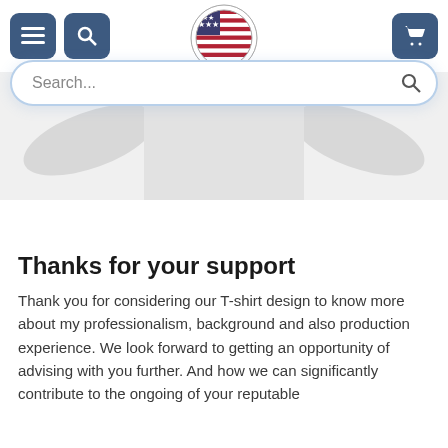Navigation bar with menu, search, logo and cart icons
[Figure (screenshot): E-commerce website header with hamburger menu button, search button, circular American flag logo (Shirtnation), and shopping cart button on a white background with a search input field below.]
[Figure (photo): White t-shirt product photo showing the collar and sleeve area of a light grey/white t-shirt, partially visible.]
Thanks for your support
Thank you for considering our T-shirt design to know more about my professionalism, background and also production experience. We look forward to getting an opportunity of advising with you further. And how we can significantly contribute to the ongoing of your reputable